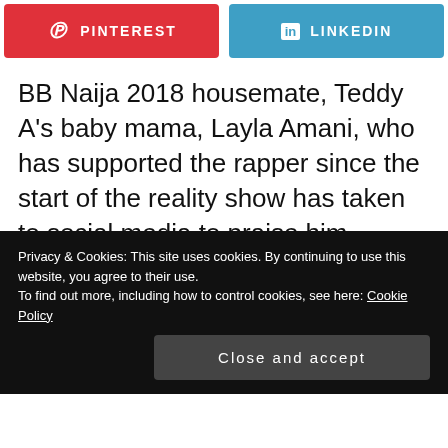[Figure (other): Pinterest and LinkedIn social share buttons side by side]
BB Naija 2018 housemate, Teddy A's baby mama, Layla Amani, who has supported the rapper since the start of the reality show has taken to social media to praise him.
Privacy & Cookies: This site uses cookies. By continuing to use this website, you agree to their use.
To find out more, including how to control cookies, see here: Cookie Policy
Close and accept